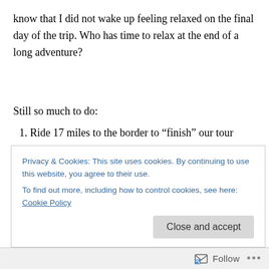know that I did not wake up feeling relaxed on the final day of the trip. Who has time to relax at the end of a long adventure?
Still so much to do:
1. Ride 17 miles to the border to “finish” our tour
2. Get a bike box
Privacy & Cookies: This site uses cookies. By continuing to use this website, you agree to their use.
To find out more, including how to control cookies, see here: Cookie Policy
Close and accept
Follow ...